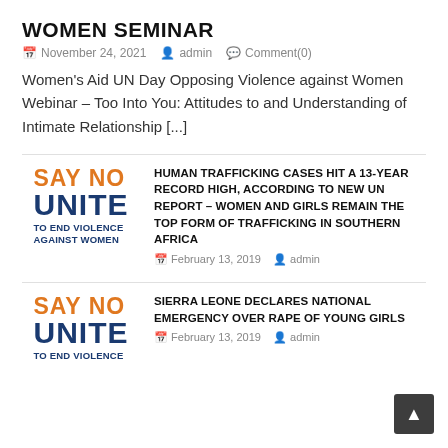WOMEN SEMINAR
November 24, 2021   admin   Comment(0)
Women's Aid UN Day Opposing Violence against Women Webinar – Too Into You: Attitudes to and Understanding of Intimate Relationship [...]
[Figure (logo): SAY NO UNiTE TO END VIOLENCE AGAINST WOMEN logo with orange and dark blue text]
HUMAN TRAFFICKING CASES HIT A 13-YEAR RECORD HIGH, ACCORDING TO NEW UN REPORT – WOMEN AND GIRLS REMAIN THE TOP FORM OF TRAFFICKING IN SOUTHERN AFRICA
February 13, 2019   admin
[Figure (logo): SAY NO UNiTE TO END VIOLENCE logo with orange and dark blue text]
SIERRA LEONE DECLARES NATIONAL EMERGENCY OVER RAPE OF YOUNG GIRLS
February 13, 2019   admin